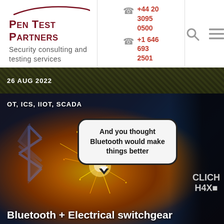[Figure (logo): Pen Test Partners logo with red swoosh and text 'PEN TEST PARTNERS' and tagline 'Security consulting and testing services']
+44 20 3095 0500
+1 646 693 2501
[Figure (other): Search and menu navigation icons]
26 AUG 2022
OT, ICS, IIOT, SCADA
And you thought Bluetooth would make things better
Bluetooth + Electrical switchgear